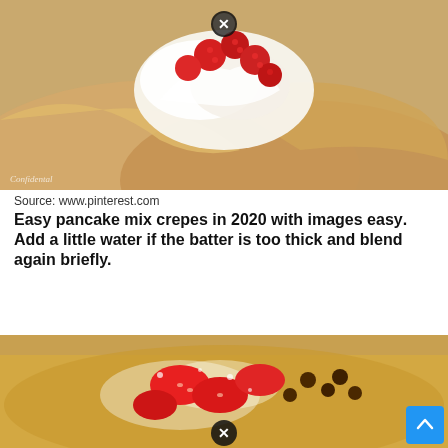[Figure (photo): Close-up photo of crepes folded and filled with whipped cream and fresh raspberries on a plate, with a close button (X) overlay in the upper center area.]
Source: www.pinterest.com
Easy pancake mix crepes in 2020 with images easy. Add a little water if the batter is too thick and blend again briefly.
[Figure (photo): Close-up photo of a crepe topped with sliced strawberries, chocolate chips, and powdered sugar, with a close button (X) overlay near the bottom center.]